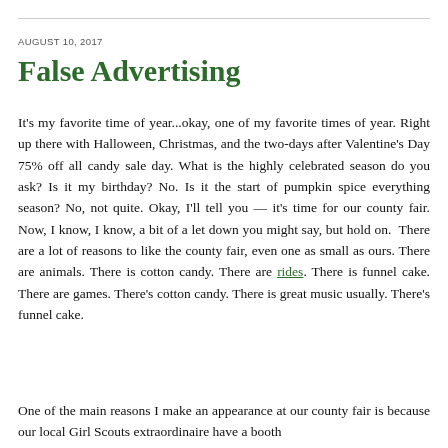AUGUST 10, 2017
False Advertising
It's my favorite time of year...okay, one of my favorite times of year. Right up there with Halloween, Christmas, and the two-days after Valentine's Day 75% off all candy sale day. What is the highly celebrated season do you ask? Is it my birthday? No. Is it the start of pumpkin spice everything season? No, not quite. Okay, I'll tell you — it's time for our county fair. Now, I know, I know, a bit of a let down you might say, but hold on. There are a lot of reasons to like the county fair, even one as small as ours. There are animals. There is cotton candy. There are rides. There is funnel cake. There are games. There's cotton candy. There is great music usually. There's funnel cake.
One of the main reasons I make an appearance at our county fair is because our local Girl Scouts extraordinaire have a booth